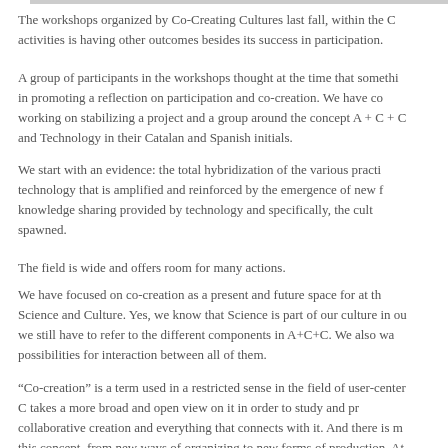The workshops organized by Co-Creating Cultures last fall, within the C... activities is having other outcomes besides its success in participation.
A group of participants in the workshops thought at the time that somethi... in promoting a reflection on participation and co-creation. We have co... working on stabilizing a project and a group around the concept A + C + C... and Technology in their Catalan and Spanish initials.
We start with an evidence: the total hybridization of the various practi... technology that is amplified and reinforced by the emergence of new f... knowledge sharing provided by technology and specifically, the cult... spawned.
The field is wide and offers room for many actions.
We have focused on co-creation as a present and future space for at th... Science and Culture. Yes, we know that Science is part of our culture in ou... we still have to refer to the different components in A+C+C. We also wa... possibilities for interaction between all of them.
“Co-creation” is a term used in a restricted sense in the field of user-center... C takes a more broad and open view on it in order to study and pr... collaborative creation and everything that connects with it. And there is m... this concept, from new ways of organizing to new forms of production. At... find influences and concepts and practices of many different initiatives fro... Design Thinking through the ArtCiencia in order to connect with them...